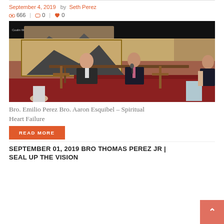September 4, 2019   by Seth Perez
666  |  0  |  0
[Figure (photo): Two men in suits sitting at a table/podium in a church setting, with wooden crosses visible and an audience member in the foreground raising their hand.]
Bro. Emilio Perez Bro. Aaron Esquibel – Spiritual Heart Failure
READ MORE
SEPTEMBER 01, 2019 BRO THOMAS PEREZ JR | SEAL UP THE VISION